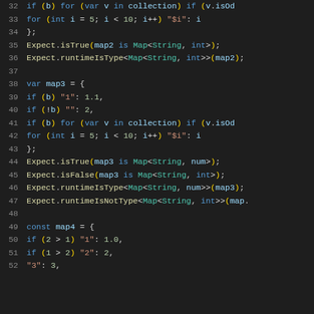[Figure (screenshot): Code editor screenshot showing Dart/Flutter code lines 32-52 with syntax highlighting. Dark background with line numbers in gray. Keywords in blue, strings in orange/red, numbers in light green, type names in teal, identifiers in light blue.]